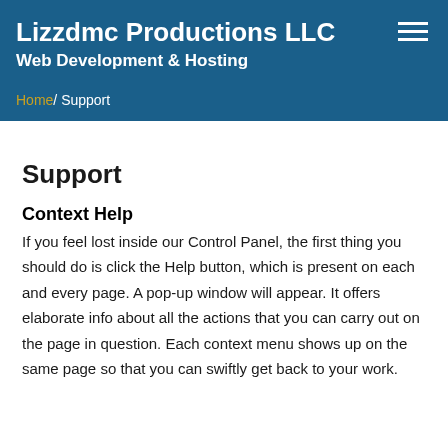Lizzdmc Productions LLC
Web Development & Hosting
Home / Support
Support
Context Help
If you feel lost inside our Control Panel, the first thing you should do is click the Help button, which is present on each and every page. A pop-up window will appear. It offers elaborate info about all the actions that you can carry out on the page in question. Each context menu shows up on the same page so that you can swiftly get back to your work.